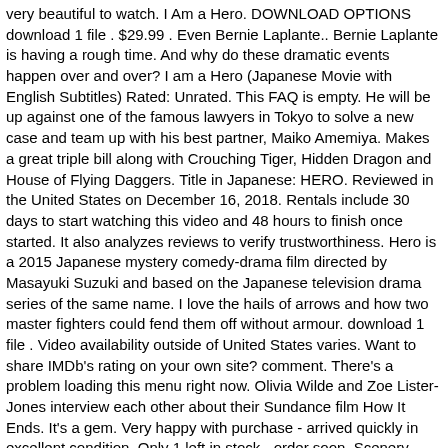very beautiful to watch. I Am a Hero. DOWNLOAD OPTIONS download 1 file . $29.99 . Even Bernie Laplante.. Bernie Laplante is having a rough time. And why do these dramatic events happen over and over? I am a Hero (Japanese Movie with English Subtitles) Rated: Unrated. This FAQ is empty. He will be up against one of the famous lawyers in Tokyo to solve a new case and team up with his best partner, Maiko Amemiya. Makes a great triple bill along with Crouching Tiger, Hidden Dragon and House of Flying Daggers. Title in Japanese: HERO. Reviewed in the United States on December 16, 2018. Rentals include 30 days to start watching this video and 48 hours to finish once started. It also analyzes reviews to verify trustworthiness. Hero is a 2015 Japanese mystery comedy-drama film directed by Masayuki Suzuki and based on the Japanese television drama series of the same name. I love the hails of arrows and how two master fighters could fend them off without armour. download 1 file . Video availability outside of United States varies. Want to share IMDb's rating on your own site? comment. There's a problem loading this menu right now. Olivia Wilde and Zoe Lister-Jones interview each other about their Sundance film How It Ends. It's a gem. Very happy with purchase - arrived quickly in excellent condition. Only 1 left in stock - order soon. Scenery magnificent, costumes and sets shine as jewels in the storyline; culturally